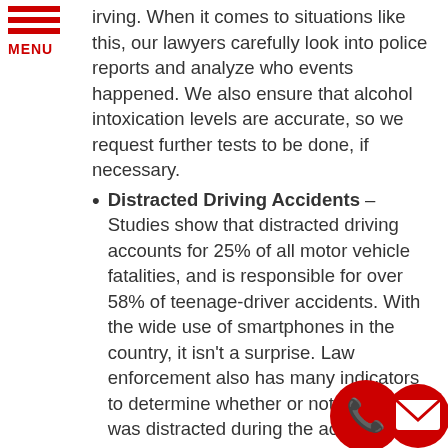MENU
irving. When it comes to situations like this, our lawyers carefully look into police reports and analyze who events happened. We also ensure that alcohol intoxication levels are accurate, so we request further tests to be done, if necessary.
Distracted Driving Accidents – Studies show that distracted driving accounts for 25% of all motor vehicle fatalities, and is responsible for over 58% of teenage-driver accidents. With the wide use of smartphones in the country, it isn't a surprise. Law enforcement also has many indicators to determine whether or not a driver was distracted during the accident. Massachusetts Personal Injury Attorneys attorneys are very much familiar and experienced with this process, and we are ready to thoroughly search for testimonies from eyewitnesses, any activity on social media, as well as police reports to ascertain that distracted driving is the cause of your accident injury.
Automotive Defects – Defective auto parts and automobile parts also contribute to a percentage